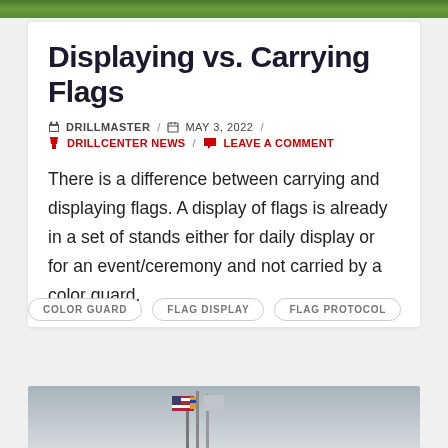[Figure (photo): Green grass/turf image strip at the top of the page]
Displaying vs. Carrying Flags
DRILLMASTER / MAY 3, 2022 / DRILLCENTER NEWS / LEAVE A COMMENT
There is a difference between carrying and displaying flags. A display of flags is already in a set of stands either for daily display or for an event/ceremony and not carried by a color guard.
COLOR GUARD
FLAG DISPLAY
FLAG PROTOCOL
[Figure (photo): Photo of flags on stands in a gymnasium or hall, partially visible at the bottom of the page]